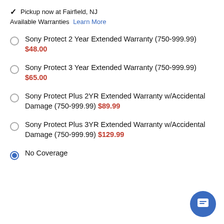✓ Pickup now at Fairfield, NJ
Available Warranties Learn More
Sony Protect 2 Year Extended Warranty (750-999.99) $48.00
Sony Protect 3 Year Extended Warranty (750-999.99) $65.00
Sony Protect Plus 2YR Extended Warranty w/Accidental Damage (750-999.99) $89.99
Sony Protect Plus 3YR Extended Warranty w/Accidental Damage (750-999.99) $129.99
No Coverage